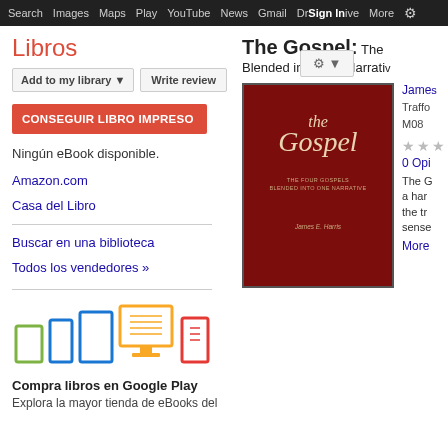Search  Images  Maps  Play  YouTube  News  Gmail  Drive  More  Sign In  ⚙
Libros
Add to my library ▼   Write review   ⚙ ▼
CONSEGUIR LIBRO IMPRESO
Ningún eBook disponible.
Amazon.com
Casa del Libro
Buscar en una biblioteca
Todos los vendedores »
[Figure (illustration): Icons of various reading devices: green tablet, blue smartphone, blue tablet, yellow desktop monitor with book, red e-reader]
Compra libros en Google Play
Explora la mayor tienda de eBooks del
The Gospel: The Four Gospels Blended into One Narrative
[Figure (photo): Book cover of 'The Gospel' with dark red/maroon background, showing 'the Gospel' in italic serif font, subtitle 'The Four Gospels Blended Into One Narrative', author James E. Harris]
James E. Harris
Trafford
M08
★★★
0 Opiniones
The G...
a har...
the tr...
sense
More